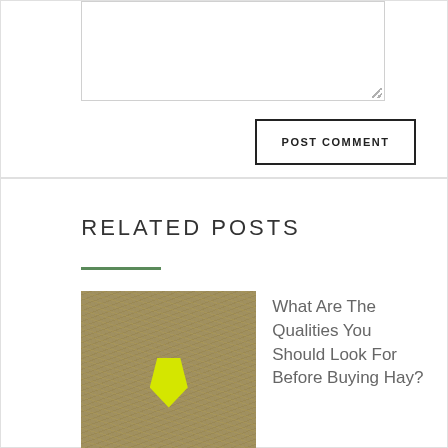[Comment textarea]
POST COMMENT
RELATED POSTS
[Figure (photo): Hay/straw with a yellow livestock ear tag]
What Are The Qualities You Should Look For Before Buying Hay?
[Figure (photo): Greenhouse or farm structure with orange/red coloring]
Prospiant